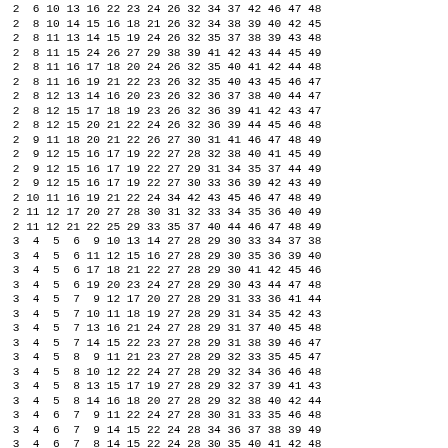Numerical data rows listing lottery/combination number sets